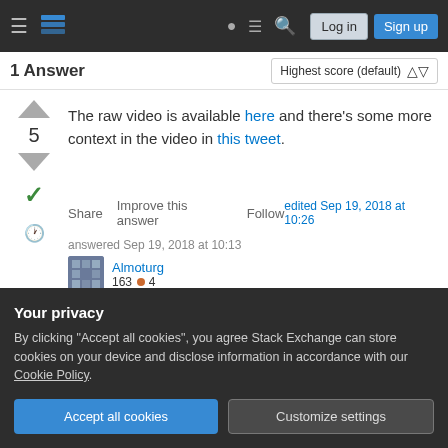Stack Exchange navigation bar with Log in and Sign up buttons
1 Answer  Highest score (default)
The raw video is available here and there's some more context in the video in this tweet.
Share  Improve this answer  Follow  edited Sep 19, 2018 at 10:26
answered Sep 19, 2018 at 10:13  Almoturg  163 ● 4
Your privacy
By clicking "Accept all cookies", you agree Stack Exchange can store cookies on your device and disclose information in accordance with our Cookie Policy.
Accept all cookies  Customize settings